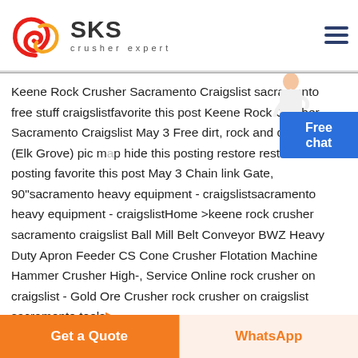[Figure (logo): SKS crusher expert logo with red swirl emblem and bold SKS text]
Keene Rock Crusher Sacramento Craigslist sacramento free stuff craigslistfavorite this post Keene Rock Crusher Sacramento Craigslist May 3 Free dirt, rock and concrete (Elk Grove) pic map hide this posting restore restore this posting favorite this post May 3 Chain link Gate, 90"sacramento heavy equipment - craigslistsacramento heavy equipment - craigslistHome >keene rock crusher sacramento craigslist Ball Mill Belt Conveyor BWZ Heavy Duty Apron Feeder CS Cone Crusher Flotation Machine Hammer Crusher High-, Service Online rock crusher on craigslist - Gold Ore Crusher rock crusher on craigslist sacramento tools by
[Figure (illustration): Person in white coat pointing, free chat button overlay]
Get a Quote
WhatsApp